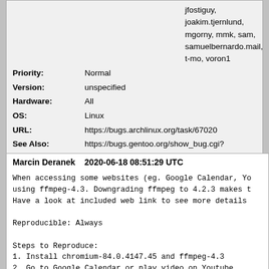jfostiguy, joakim.tjernlund, mgorny, mmk, sam, samuelbernardo.mail, t-mo, voron1
| Priority: | Normal |
| Version: | unspecified |
| Hardware: | All |
| OS: | Linux |
| URL: | https://bugs.archlinux.org/task/67020 |
| See Also: | https://bugs.gentoo.org/show_bug.cgi?id=738238 |
| Whiteboard: |  |
| Attachments: | Patch |
Marcin Deranek    2020-06-18 08:51:29 UTC
When accessing some websites (eg. Google Calendar, Yo using ffmpeg-4.3. Downgrading ffmpeg to 4.2.3 makes Have a look at included web link to see more details

Reproducible: Always

Steps to Reproduce:
1. Install chromium-84.0.4147.45 and ffmpeg-4.3
2. Go to Google Calendar or play video on Youtube
Actual Results: